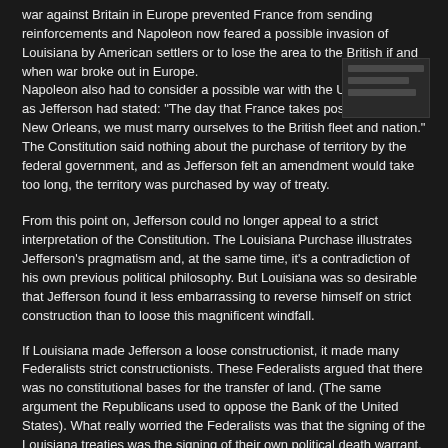war against Britain in Europe prevented France from sending reinforcements and Napoleon now feared a possible invasion of Louisiana by American settlers or to lose the area to the British if and when war broke out in Europe. Napoleon also had to consider a possible war with the United States as Jefferson had stated: "The day that France takes possession of New Orleans, we must marry ourselves to the British fleet and nation." The Constitution said nothing about the purchase of territory by the federal government, and as Jefferson felt an amendment would take too long, the territory was purchased by way of treaty.
[Figure (other): Small thumbnail image or document snippet in upper right area]
From this point on, Jefferson could no longer appeal to a strict interpretation of the Constitution. The Louisiana Purchase illustrates Jefferson's pragmatism and, at the same time, it's a contradiction of his own previous political philosophy. But Louisiana was so desirable that Jefferson found it less embarrassing to reverse himself on strict construction than to loose this magnificent windfall.
If Louisiana made Jefferson a loose constructionist, it made many Federalists strict constructionists. These Federalists argued that there was no constitutional bases for the transfer of land. (The same argument the Republicans used to oppose the Bank of the United States). What really worried the Federalists was that the signing of the Louisiana treaties was the signing of their own political death warrant. New states would be carved from the new territory that would outvote the 13 charter states including Federalist New England.
In his interpretations of the Constitution and in domestic policy, Jefferson demonstrated a loose interpretation of the Constitution which was needed to create a strong federal government so that the government might have the power to act in the best interest of the people.